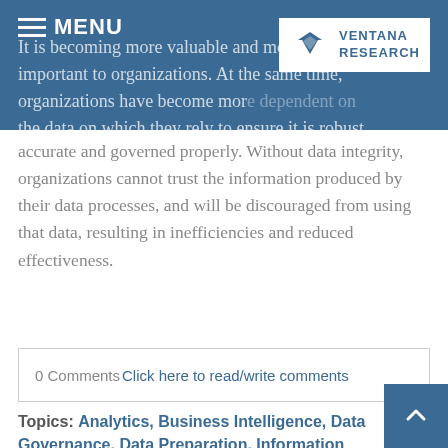MENU | VENTANA RESEARCH
It is becoming more valuable and more important to organizations. At the same time, organizations have become more dependent on the data on which they rely to ensure it is robust, accurate and governed properly. Without data integrity, organizations cannot trust the information produced by their data processes, and will be discouraged from using that data, resulting in inefficiencies and reduced effectiveness.
Read More
0 Comments  Click here to read/write comments
Topics: Analytics, Business Intelligence, Data Governance, Data Preparation, Information Management, Data, data lakes